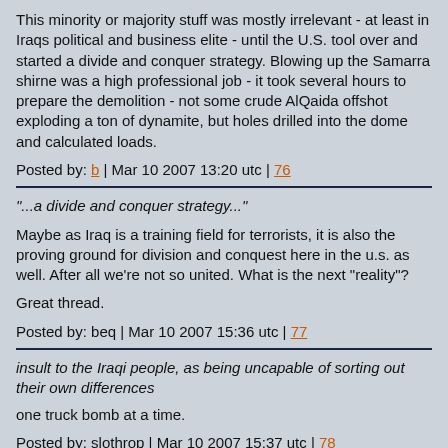This minority or majority stuff was mostly irrelevant - at least in Iraqs political and business elite - until the U.S. tool over and started a divide and conquer strategy. Blowing up the Samarra shirne was a high professional job - it took several hours to prepare the demolition - not some crude AlQaida offshot exploding a ton of dynamite, but holes drilled into the dome and calculated loads.
Posted by: b | Mar 10 2007 13:20 utc | 76
"...a divide and conquer strategy..."
Maybe as Iraq is a training field for terrorists, it is also the proving ground for division and conquest here in the u.s. as well. After all we're not so united. What is the next "reality"?
Great thread.
Posted by: beq | Mar 10 2007 15:36 utc | 77
insult to the Iraqi people, as being uncapable of sorting out their own differences
one truck bomb at a time.
Posted by: slothrop | Mar 10 2007 15:37 utc | 78